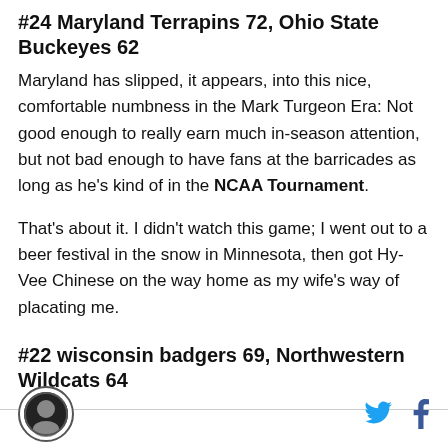#24 Maryland Terrapins 72, Ohio State Buckeyes 62
Maryland has slipped, it appears, into this nice, comfortable numbness in the Mark Turgeon Era: Not good enough to really earn much in-season attention, but not bad enough to have fans at the barricades as long as he's kind of in the NCAA Tournament.
That's about it. I didn't watch this game; I went out to a beer festival in the snow in Minnesota, then got Hy-Vee Chinese on the way home as my wife's way of placating me.
#22 wisconsin badgers 69, Northwestern Wildcats 64
Logo, Twitter, Facebook icons